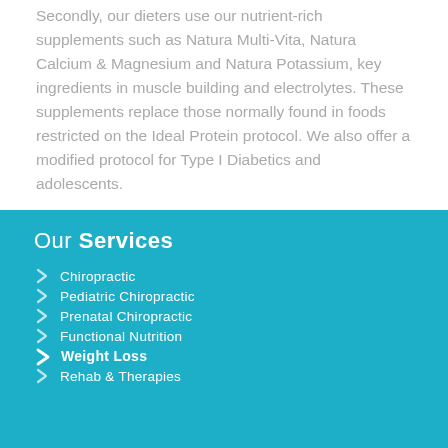Secondly, our dieters use our nutrient-rich supplements such as Natura Multi-Vita, Natura Calcium & Magnesium and Natura Potassium, key ingredients in muscle building and electrolytes. These supplements replace those normally found in foods restricted on the Ideal Protein protocol. We also offer a modified protocol for Type I Diabetics and adolescents.
Our Services
Chiropractic
Pediatric Chiropractic
Prenatal Chiropractic
Functional Nutrition
Weight Loss
Rehab & Therapies